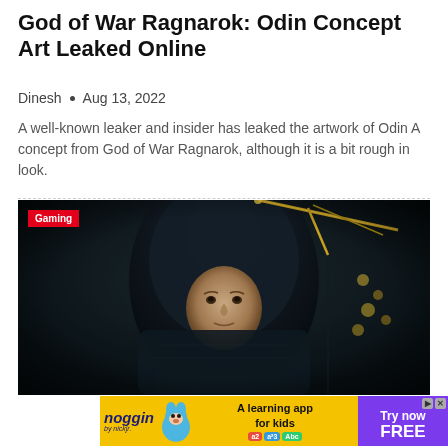God of War Ragnarok: Odin Concept Art Leaked Online
Dinesh • Aug 13, 2022
A well-known leaker and insider has leaked the artwork of Odin A concept from God of War Ragnarok, although it is a bit rough in look.
[Figure (photo): Dark cinematic image of a hooded male figure holding a golden spear-like weapon, with a 'Gaming' badge in the top left corner. An advertisement banner for Noggin learning app appears at the bottom.]